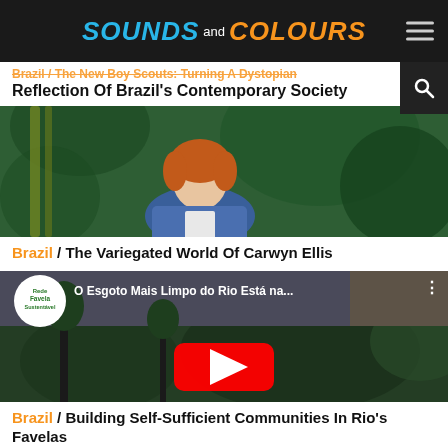Sounds and Colours
Brazil / The New Boy Scouts: Turning A Dystopian Reflection Of Brazil's Contemporary Society
[Figure (photo): Photo of Carwyn Ellis, a man with auburn hair in a blue jacket, standing in front of lush green tropical foliage.]
Brazil / The Variegated World Of Carwyn Ellis
[Figure (screenshot): YouTube video thumbnail showing 'O Esgoto Mais Limpo do Rio Está na...' with Rede Favela Sustentável logo, forest/favela landscape, and YouTube play button.]
Brazil / Building Self-Sufficient Communities In Rio's Favelas
[Figure (photo): Partial view of another article image, dark with bokeh lights visible at right.]